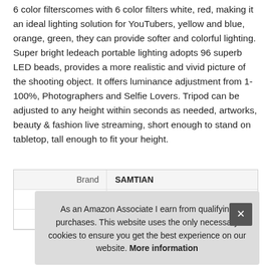6 color filterscomes with 6 color filters white, red, making it an ideal lighting solution for YouTubers, yellow and blue, orange, green, they can provide softer and colorful lighting. Super bright ledeach portable lighting adopts 96 superb LED beads, provides a more realistic and vivid picture of the shooting object. It offers luminance adjustment from 1-100%, Photographers and Selfie Lovers. Tripod can be adjusted to any height within seconds as needed, artworks, beauty & fashion live streaming, short enough to stand on tabletop, tall enough to fit your height.
| Brand | SAMTIAN |
| Ma |  |
| P |  |
As an Amazon Associate I earn from qualifying purchases. This website uses the only necessary cookies to ensure you get the best experience on our website. More information